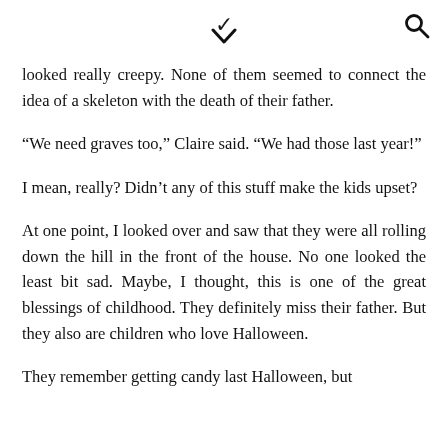▾  🔍
looked really creepy. None of them seemed to connect the idea of a skeleton with the death of their father.
“We need graves too,” Claire said. “We had those last year!”
I mean, really? Didn’t any of this stuff make the kids upset?
At one point, I looked over and saw that they were all rolling down the hill in the front of the house. No one looked the least bit sad. Maybe, I thought, this is one of the great blessings of childhood. They definitely miss their father. But they also are children who love Halloween.
They remember getting candy last Halloween, but